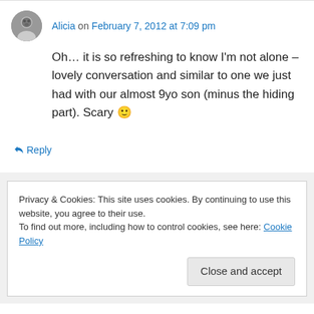Alicia on February 7, 2012 at 7:09 pm
Oh… it is so refreshing to know I'm not alone – lovely conversation and similar to one we just had with our almost 9yo son (minus the hiding part). Scary 🙂
↳ Reply
Privacy & Cookies: This site uses cookies. By continuing to use this website, you agree to their use.
To find out more, including how to control cookies, see here: Cookie Policy
Close and accept
↳ Reply